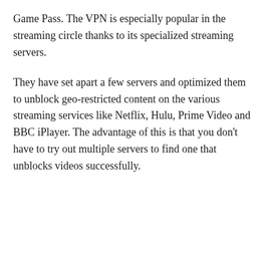Game Pass. The VPN is especially popular in the streaming circle thanks to its specialized streaming servers.
They have set apart a few servers and optimized them to unblock geo-restricted content on the various streaming services like Netflix, Hulu, Prime Video and BBC iPlayer. The advantage of this is that you don’t have to try out multiple servers to find one that unblocks videos successfully.